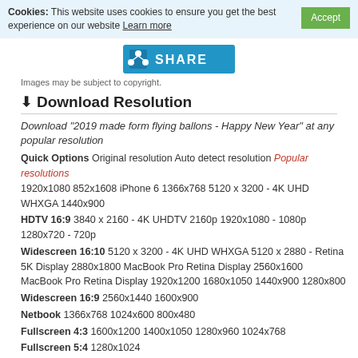Cookies: This website uses cookies to ensure you get the best experience on our website Learn more  [Accept]
[Figure (other): Blue SHARE button with share icon]
Images may be subject to copyright.
Download Resolution
Download "2019 made form flying ballons - Happy New Year" at any popular resolution
Quick Options Original resolution Auto detect resolution Popular resolutions 1920x1080 852x1608 iPhone 6 1366x768 5120 x 3200 - 4K UHD WHXGA 1440x900
HDTV 16:9 3840 x 2160 - 4K UHDTV 2160p 1920x1080 - 1080p 1280x720 - 720p
Widescreen 16:10 5120 x 3200 - 4K UHD WHXGA 5120 x 2880 - Retina 5K Display 2880x1800 MacBook Pro Retina Display 2560x1600 MacBook Pro Retina Display 1920x1200 1680x1050 1440x900 1280x800
Widescreen 16:9 2560x1440 1600x900
Netbook 1366x768 1024x600 800x480
Fullscreen 4:3 1600x1200 1400x1050 1280x960 1024x768
Fullscreen 5:4 1280x1024